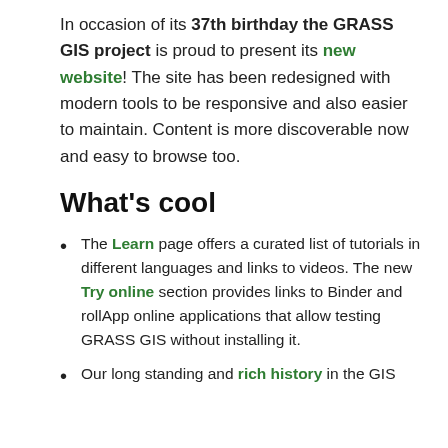In occasion of its 37th birthday the GRASS GIS project is proud to present its new website! The site has been redesigned with modern tools to be responsive and also easier to maintain. Content is more discoverable now and easy to browse too.
What's cool
The Learn page offers a curated list of tutorials in different languages and links to videos. The new Try online section provides links to Binder and rollApp online applications that allow testing GRASS GIS without installing it.
Our long standing and rich history in the GIS